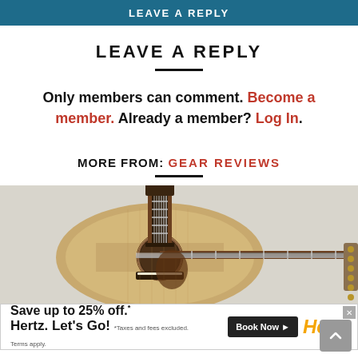LEAVE A REPLY
LEAVE A REPLY
Only members can comment. Become a member. Already a member? Log In.
MORE FROM: GEAR REVIEWS
[Figure (photo): Acoustic guitar (dreadnought style) with natural wood top and dark fretboard, photographed against a light grey background.]
[Figure (infographic): Advertisement: Save up to 25% off.* Hertz. Let's Go! *Taxes and fees excluded. Terms apply. Book Now button with Hertz logo.]